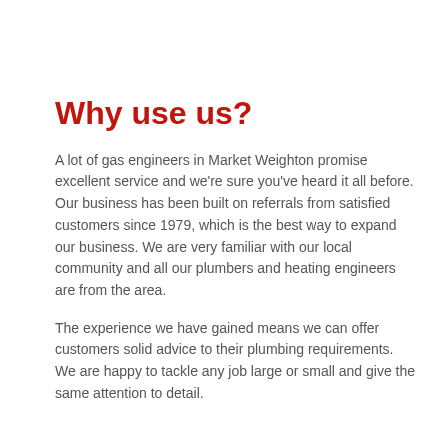Why use us?
A lot of gas engineers in Market Weighton promise excellent service and we're sure you've heard it all before. Our business has been built on referrals from satisfied customers since 1979, which is the best way to expand our business. We are very familiar with our local community and all our plumbers and heating engineers are from the area.
The experience we have gained means we can offer customers solid advice to their plumbing requirements. We are happy to tackle any job large or small and give the same attention to detail.